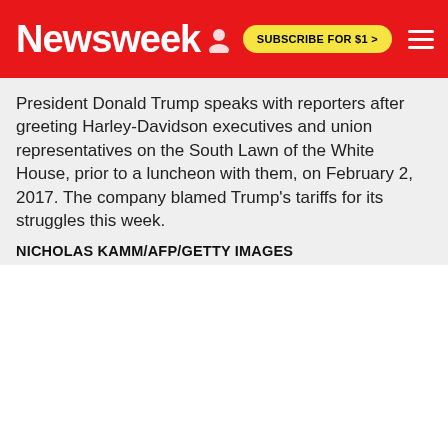Newsweek | SUBSCRIBE FOR $1 >
President Donald Trump speaks with reporters after greeting Harley-Davidson executives and union representatives on the South Lawn of the White House, prior to a luncheon with them, on February 2, 2017. The company blamed Trump's tariffs for its struggles this week.
NICHOLAS KAMM/AFP/GETTY IMAGES